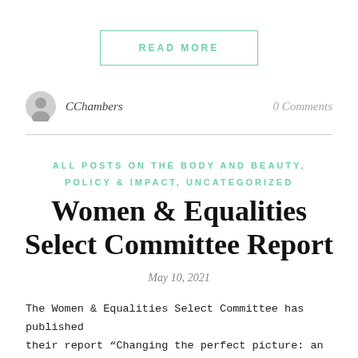READ MORE
CChambers
0 Comments
ALL POSTS ON THE BODY AND BEAUTY, POLICY & IMPACT, UNCATEGORIZED
Women & Equalities Select Committee Report
May 10, 2021
The Women & Equalities Select Committee has published their report “Changing the perfect picture: an inquiry into